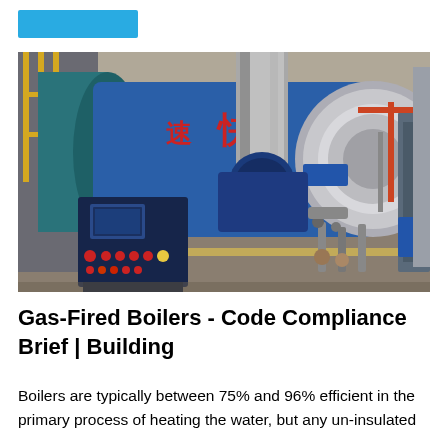[Figure (photo): Industrial gas-fired boiler equipment in a facility, showing large blue cylindrical boiler with Chinese characters, silver cylindrical duct, control panel with colored buttons, and surrounding pipes and equipment.]
Gas-Fired Boilers - Code Compliance Brief | Building
Boilers are typically between 75% and 96% efficient in the primary process of heating the water, but any un-insulated